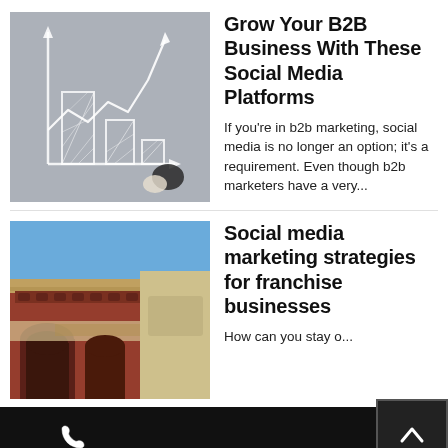[Figure (photo): Photo of a whiteboard or glass surface with a hand-drawn bar and line chart in white chalk/marker, showing three bars of decreasing height and a jagged line graph with an upward arrow. A black stone and a white stone are visible in the lower right corner of the image.]
Grow Your B2B Business With These Social Media Platforms
If you're in b2b marketing, social media is no longer an option; it's a requirement. Even though b2b marketers have a very...
[Figure (photo): Photo of the exterior of a red-brick building with arched windows and decorative cornice, possibly a historic market or commercial building, with a blue sky in the background and a storefront sign partially visible.]
Social media marketing strategies for franchise businesses
How can you stay o...
Phone icon | Mail icon | Scroll-up button